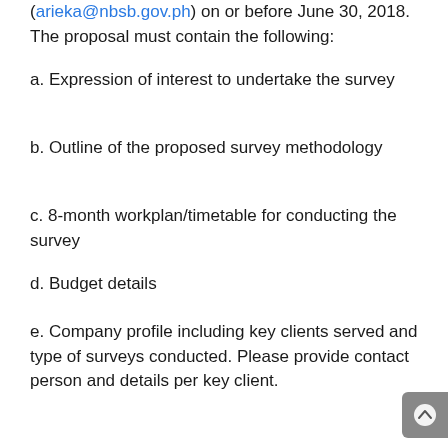(arieka@nbsb.gov.ph) on or before June 30, 2018. The proposal must contain the following:
a. Expression of interest to undertake the survey
b. Outline of the proposed survey methodology
c. 8-month workplan/timetable for conducting the survey
d. Budget details
e. Company profile including key clients served and type of surveys conducted. Please provide contact person and details per key client.